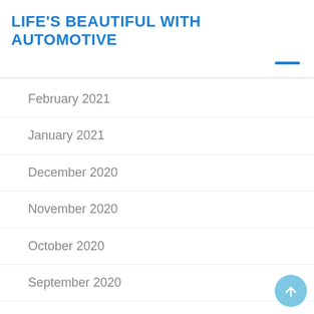LIFE'S BEAUTIFUL WITH AUTOMOTIVE
February 2021
January 2021
December 2020
November 2020
October 2020
September 2020
August 2020